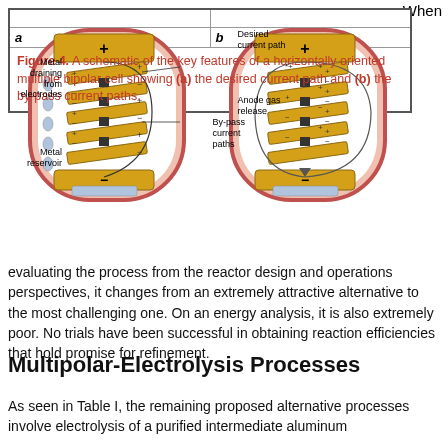[Figure (schematic): Two side-by-side schematics of a horizontally oriented multiple bipolar cell. Left diagram (a) shows the desired current path with labels: '+' at top (anode), '-' at bottom (cathode), 'Metal draining from electrodes', 'Metal reservoir', 'Desired current path', 'Anode gas release'. Right diagram (b) shows the by-pass current paths with label 'By-pass current paths'.]
Figure 4. A schematic of the key features of a horizontally oriented multiple bipolar cell showing (a) the desired current path and (b) the by-pass current paths.
evaluating the process from the reactor design and operations perspectives, it changes from an extremely attractive alternative to the most challenging one. On an energy analysis, it is also extremely poor. No trials have been successful in obtaining reaction efficiencies that hold promise for refinement.
Multipolar-Electrolysis Processes
As seen in Table I, the remaining proposed alternative processes involve electrolysis of a purified intermediate aluminum